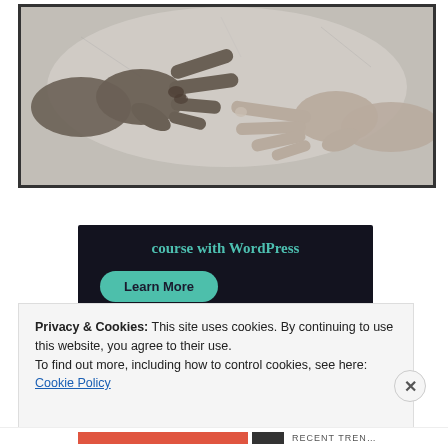[Figure (photo): Black and white photograph of two hands nearly touching, reminiscent of Michelangelo's Creation of Adam. One hand reaches from the left, another from the right, fingertips almost meeting.]
[Figure (screenshot): Dark navy advertisement banner showing 'course with WordPress' in teal text with a teal 'Learn More' button below.]
Privacy & Cookies: This site uses cookies. By continuing to use this website, you agree to their use.
To find out more, including how to control cookies, see here: Cookie Policy
Close and accept